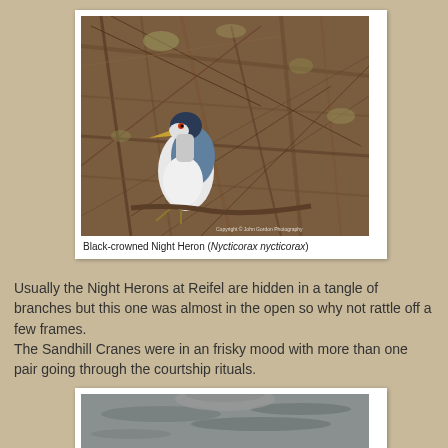[Figure (photo): Black-crowned Night Heron perched among bare branches and twigs, with copyright watermark 'Copyright © John Gordon Photography' in lower right corner]
Black-crowned Night Heron (Nycticorax nycticorax)
Usually the Night Herons at Reifel are hidden in a tangle of branches but this one was almost in the open so why not rattle off a few frames.
The Sandhill Cranes were in an frisky mood with more than one pair going through the courtship rituals.
[Figure (photo): Partial view of a bird (likely Sandhill Crane) on water, only top portion visible, image cropped at bottom of page]